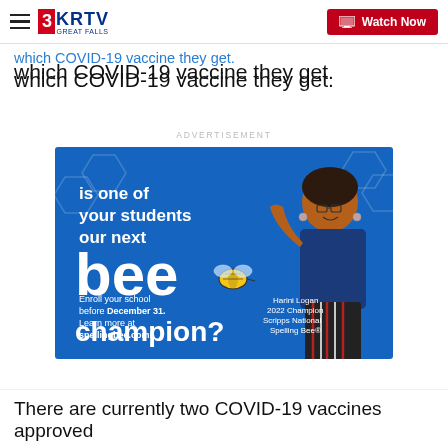3KRTV Great Falls | Watch Now
which COVID-19 vaccine they get.
ADVERTISEMENT
[Figure (illustration): Scripps National Spelling Bee advertisement. Blue background with hexagon shapes. Text: 'is one of your students our next bee champion? Enroll your school before December 31. Learn more at spellingbee.com!' Features a photo of Harini Logan, 2022 Champion Scripps National Spelling Bee, smiling and wearing a blue top.]
There are currently two COVID-19 vaccines approved